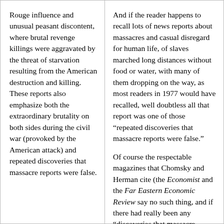Rouge influence and unusual peasant discontent, where brutal revenge killings were aggravated by the threat of starvation resulting from the American destruction and killing. These reports also emphasize both the extraordinary brutality on both sides during the civil war (provoked by the American attack) and repeated discoveries that massacre reports were false.
And if the reader happens to recall lots of news reports about massacres and casual disregard for human life, of slaves marched long distances without food or water, with many of them dropping on the way, as most readers in 1977 would have recalled, well doubtless all that report was one of those “repeated discoveries that massacre reports were false.”
Of course the respectable magazines that Chomsky and Herman cite (the Economist and the Far Eastern Economic Review say no such thing, and if there had really been any “discoveries that massacre reports were false” then Chomsky and the magazine in which his article appeared would have given us chapter